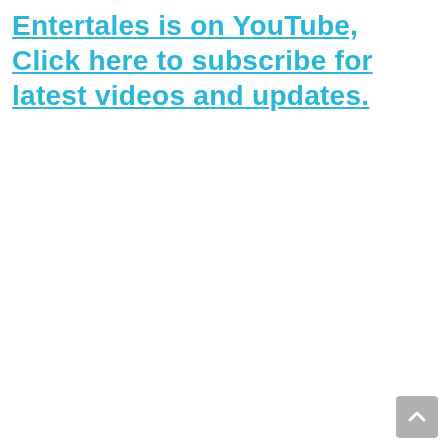Entertales is on YouTube, Click here to subscribe for latest videos and updates.